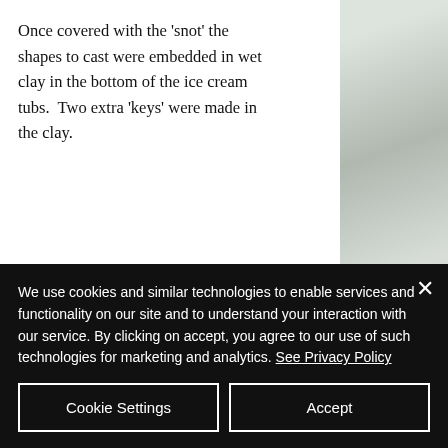Once covered with the 'snot' the shapes to cast were embedded in wet clay in the bottom of the ice cream tubs.  Two extra 'keys' were made in the clay.
[Figure (photo): Photo of an ice cream tub with wet clay inside, showing embedded shapes and two key impressions. Partial view of other containers visible at edges.]
[Figure (photo): White textured surface visible in the top-right portion of the page.]
We use cookies and similar technologies to enable services and functionality on our site and to understand your interaction with our service. By clicking on accept, you agree to our use of such technologies for marketing and analytics. See Privacy Policy